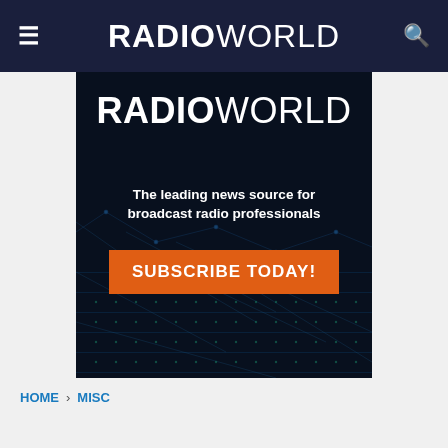RADIOWORLD
[Figure (infographic): Radio World advertisement banner on dark background showing circuit board/tech grid pattern. Contains the Radio World logo, tagline 'The leading news source for broadcast radio professionals', and an orange 'SUBSCRIBE TODAY!' call-to-action button.]
HOME > MISC